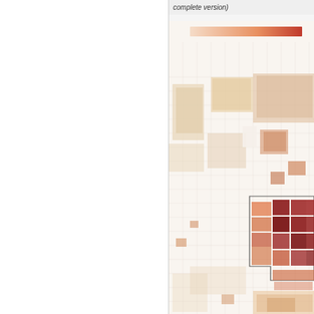(complete version)
[Figure (map): Choropleth map showing geographic data with color gradient from light beige/orange to dark red, indicating varying density or intensity across census tracts or block groups in an urban area. The map shows street grid lines in light gray, with a concentrated cluster of dark red areas in the lower-right portion of the map, surrounded by lighter orange and beige shaded regions.]